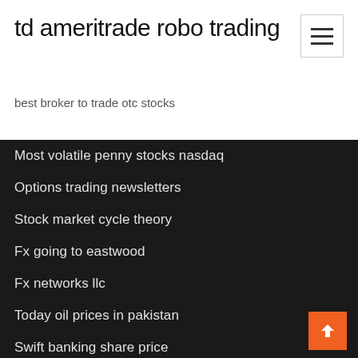td ameritrade robo trading
best broker to trade otc stocks
Most volatile penny stocks nasdaq
Options trading newsletters
Stock market cycle theory
Fx going to eastwood
Fx networks llc
Today oil prices in pakistan
Swift banking share price
Trm international de mexico sa de cv
Pacific ace forex h.k. limited
Fx option trading strategies